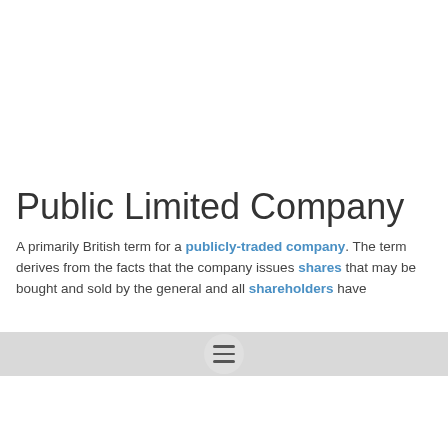Public Limited Company
A primarily British term for a publicly-traded company. The term derives from the facts that the company issues shares that may be bought and sold by the general public, and all shareholders have